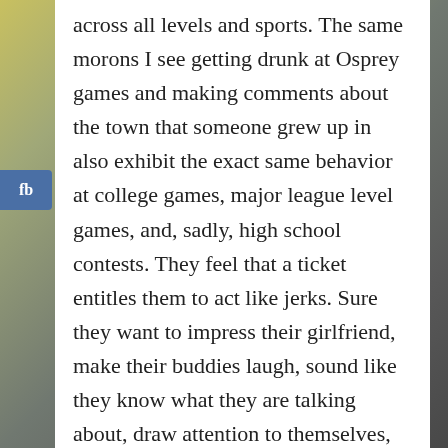across all levels and sports. The same morons I see getting drunk at Osprey games and making comments about the town that someone grew up in also exhibit the exact same behavior at college games, major league level games, and, sadly, high school contests. They feel that a ticket entitles them to act like jerks. Sure they want to impress their girlfriend, make their buddies laugh, sound like they know what they are talking about, draw attention to themselves, and get the most out of their buzz but it still means little because there is no passion or genuineness in their comments.  They don't care about the outcome of the game but yet they continue to run their mouths.